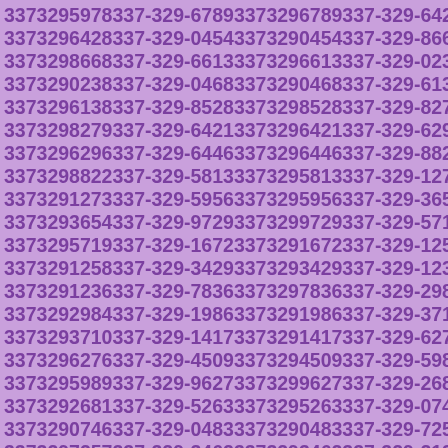3373295978 337-329-6789 3373296789 337-329-6428 3373296428 337-329-0454 3373290454 337-329-8668 3373298668 337-329-6613 3373296613 337-329-0238 3373290238 337-329-0468 3373290468 337-329-6138 3373296138 337-329-8528 3373298528 337-329-8279 3373298279 337-329-6421 3373296421 337-329-6296 3373296296 337-329-6446 3373296446 337-329-8822 3373298822 337-329-5813 3373295813 337-329-1273 3373291273 337-329-5956 3373295956 337-329-3654 3373293654 337-329-9729 3373299729 337-329-5719 3373295719 337-329-1672 3373291672 337-329-1258 3373291258 337-329-3429 3373293429 337-329-1236 3373291236 337-329-7836 3373297836 337-329-2984 3373292984 337-329-1986 3373291986 337-329-3710 3373293710 337-329-1417 3373291417 337-329-6276 3373296276 337-329-4509 3373294509 337-329-5989 3373295989 337-329-9627 3373299627 337-329-2681 3373292681 337-329-5263 3373295263 337-329-0746 3373290746 337-329-0483 3373290483 337-329-7257 3373297257 337-329-3462 3373293462 337-329-2133